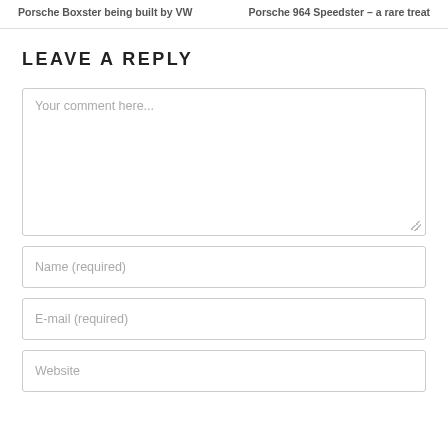Porsche Boxster being built by VW | Porsche 964 Speedster – a rare treat
LEAVE A REPLY
Your comment here...
Name (required)
E-mail (required)
Website